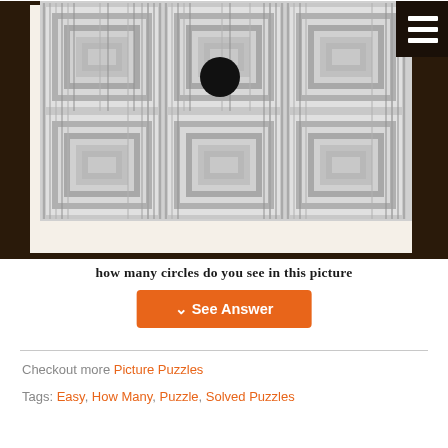[Figure (illustration): Optical illusion image showing a grid of nested square panels in grayscale with a single black circle/dot near the top center, framed in dark brown. A hamburger menu icon appears in the top right corner.]
how many circles do you see in this picture
See Answer
Checkout more Picture Puzzles
Tags: Easy, How Many, Puzzle, Solved Puzzles